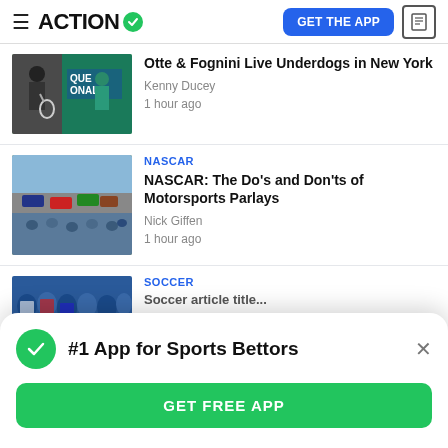ACTION
Otte & Fognini Live Underdogs in New York | Kenny Ducey | 1 hour ago
NASCAR | NASCAR: The Do's and Don'ts of Motorsports Parlays | Nick Giffen | 1 hour ago
SOCCER
#1 App for Sports Bettors
GET FREE APP